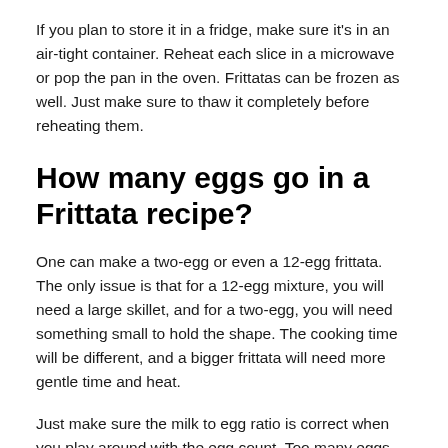If you plan to store it in a fridge, make sure it's in an air-tight container. Reheat each slice in a microwave or pop the pan in the oven. Frittatas can be frozen as well. Just make sure to thaw it completely before reheating them.
How many eggs go in a Frittata recipe?
One can make a two-egg or even a 12-egg frittata. The only issue is that for a 12-egg mixture, you will need a large skillet, and for a two-egg, you will need something small to hold the shape. The cooking time will be different, and a bigger frittata will need more gentle time and heat.
Just make sure the milk to egg ratio is correct when you play around with the egg count. Too many eggs are difficult to handle, and they risk being uncooked inside.